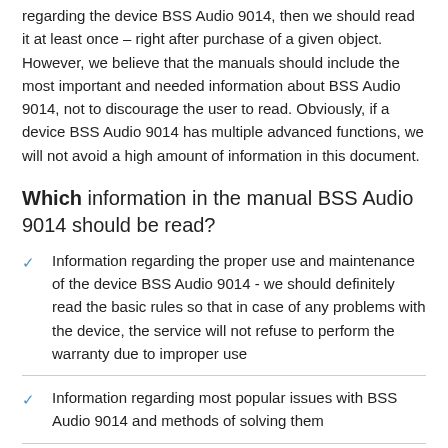regarding the device BSS Audio 9014, then we should read it at least once – right after purchase of a given object. However, we believe that the manuals should include the most important and needed information about BSS Audio 9014, not to discourage the user to read. Obviously, if a device BSS Audio 9014 has multiple advanced functions, we will not avoid a high amount of information in this document.
Which information in the manual BSS Audio 9014 should be read?
Information regarding the proper use and maintenance of the device BSS Audio 9014 - we should definitely read the basic rules so that in case of any problems with the device, the service will not refuse to perform the warranty due to improper use
Information regarding most popular issues with BSS Audio 9014 and methods of solving them
Information regarding the warranty of device BSS Audio 9014 and the nearest services able to repair the device according with the